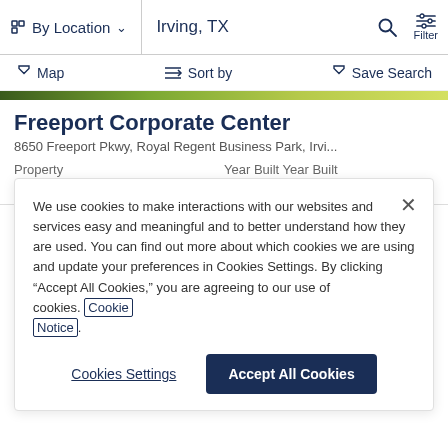By Location  Irving, TX  Filter
Map  Sort by  Save Search
Freeport Corporate Center
8650 Freeport Pkwy, Royal Regent Business Park, Irvi...
Property
Office /  98,835 SF
Year Built Year Built
1998
We use cookies to make interactions with our websites and services easy and meaningful and to better understand how they are used. You can find out more about which cookies we are using and update your preferences in Cookies Settings. By clicking “Accept All Cookies,” you are agreeing to our use of cookies. Cookie Notice.
Cookies Settings
Accept All Cookies